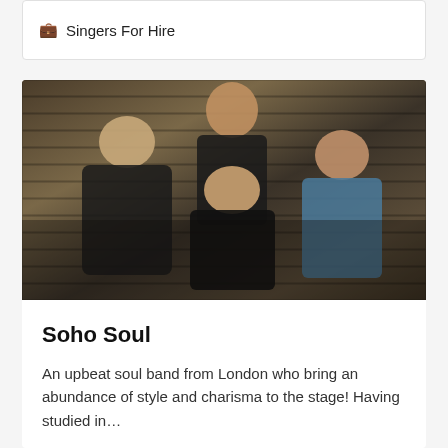💼 Singers For Hire
[Figure (photo): Four members of the soul band Soho Soul posing against a brick wall. Three men and one woman, dressed in dark clothing. The woman in the centre has silver-blonde hair and is wearing a black off-shoulder top.]
Soho Soul
An upbeat soul band from London who bring an abundance of style and charisma to the stage! Having studied in…